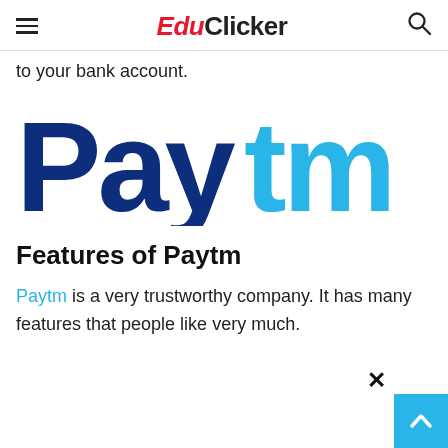EduClicker
to your bank account.
[Figure (logo): Paytm logo: dark navy blue 'Pay' text and cyan/light blue 'tm' text forming the Paytm brand wordmark]
Features of Paytm
Paytm is a very trustworthy company. It has many features that people like very much.